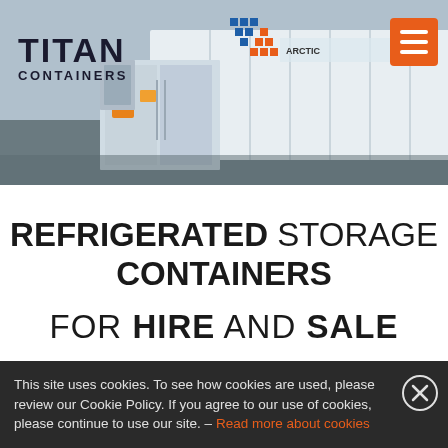[Figure (photo): Hero image showing white refrigerated storage containers (Arctic brand reefer containers) with TITAN CONTAINERS logo in top left and orange hamburger menu button in top right]
REFRIGERATED STORAGE CONTAINERS FOR HIRE AND SALE
This site uses cookies. To see how cookies are used, please review our Cookie Policy. If you agree to our use of cookies, please continue to use our site. - Read more about cookies